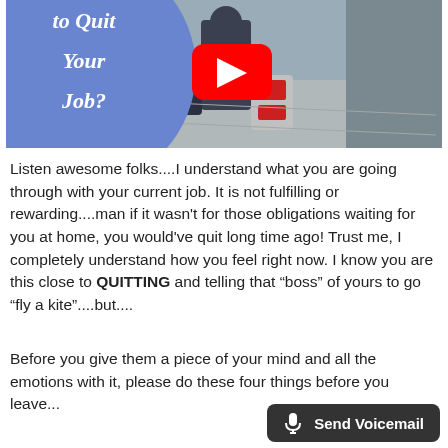[Figure (screenshot): YouTube video thumbnail showing a person walking away with luggage on a sidewalk. A large blue circle on the left contains bold italic white text reading 'to Quit Your Job?' and a YouTube play button icon is centered on the image.]
Listen awesome folks....I understand what you are going through with your current job. It is not fulfilling or rewarding....man if it wasn't for those obligations waiting for you at home, you would've quit long time ago! Trust me, I completely understand how you feel right now. I know you are this close to QUITTING and telling that “boss” of yours to go “fly a kite”....but....
Before you give them a piece of your mind and all the emotions with it, please do these four things before you leave...